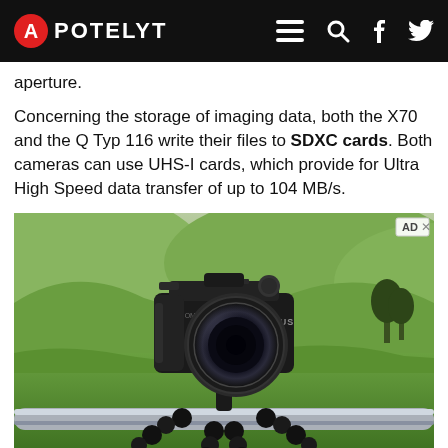APOTELYT
aperture.
Concerning the storage of imaging data, both the X70 and the Q Typ 116 write their files to SDXC cards. Both cameras can use UHS-I cards, which provide for Ultra High Speed data transfer of up to 104 MB/s.
[Figure (photo): Advertisement photo showing an Olympus DSLR camera mounted on a JOBY flexible tripod clamped to a metal rail, with green hilly landscape in the background.]